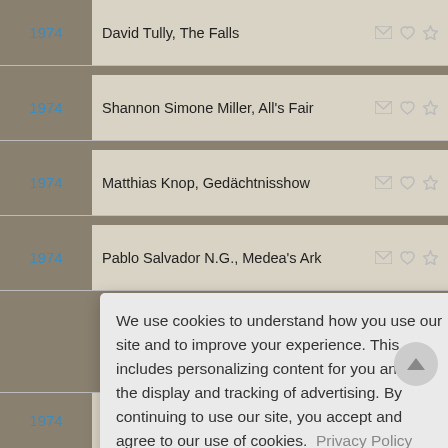1974  David Tully, The Falls
1974  Shannon Simone Miller, All's Fair
1974  Matthias Knop, Gedächtnisshow
1974  Pablo Salvador N.G., Medea's Ark
We use cookies to understand how you use our site and to improve your experience. This includes personalizing content for you and for the display and tracking of advertising. By continuing to use our site, you accept and agree to our use of cookies.  Privacy Policy
1974  Colleen Miller, Fight Science